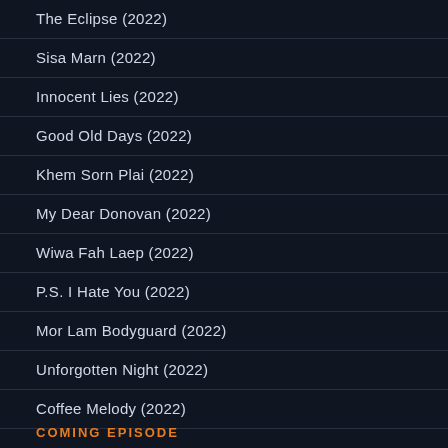The Eclipse (2022)
Sisa Marn (2022)
Innocent Lies (2022)
Good Old Days (2022)
Khem Sorn Plai (2022)
My Dear Donovan (2022)
Wiwa Fah Laep (2022)
P.S. I Hate You (2022)
Mor Lam Bodyguard (2022)
Unforgotten Night (2022)
Coffee Melody (2022)
COMING EPISODE